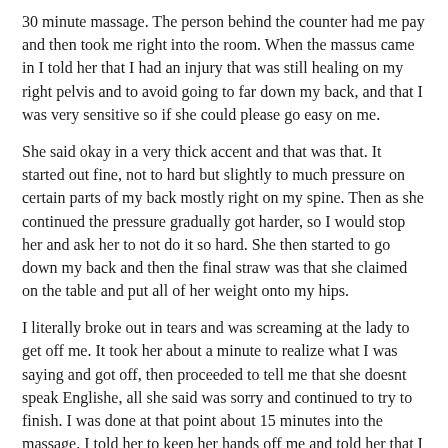30 minute massage. The person behind the counter had me pay and then took me right into the room. When the massus came in I told her that I had an injury that was still healing on my right pelvis and to avoid going to far down my back, and that I was very sensitive so if she could please go easy on me.
She said okay in a very thick accent and that was that. It started out fine, not to hard but slightly to much pressure on certain parts of my back mostly right on my spine. Then as she continued the pressure gradually got harder, so I would stop her and ask her to not do it so hard. She then started to go down my back and then the final straw was that she claimed on the table and put all of her weight onto my hips.
I literally broke out in tears and was screaming at the lady to get off me. It took her about a minute to realize what I was saying and got off, then proceeded to tell me that she doesnt speak Englishe, all she said was sorry and continued to try to finish. I was done at that point about 15 minutes into the massage. I told her to keep her hands off me and told her that I was done.
I put my shirt back on and left, and the man behind the counter tried to ask me to give her a tip. I told him with tears still streaming down my face that he is lucky I am not asking for my money back and heres a tip for you hire people who speak English and can